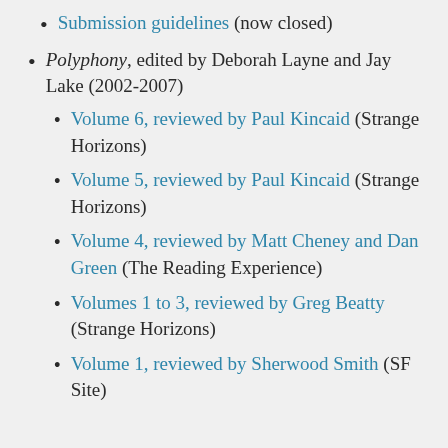Submission guidelines (now closed)
Polyphony, edited by Deborah Layne and Jay Lake (2002-2007)
Volume 6, reviewed by Paul Kincaid (Strange Horizons)
Volume 5, reviewed by Paul Kincaid (Strange Horizons)
Volume 4, reviewed by Matt Cheney and Dan Green (The Reading Experience)
Volumes 1 to 3, reviewed by Greg Beatty (Strange Horizons)
Volume 1, reviewed by Sherwood Smith (SF Site)